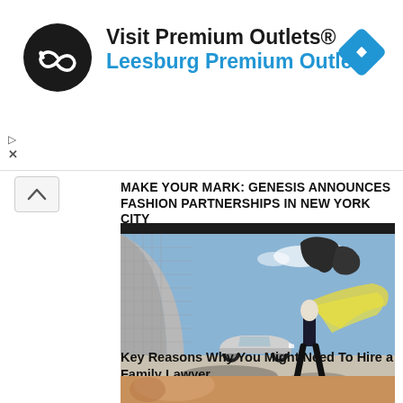[Figure (screenshot): Advertisement banner for Visit Premium Outlets - Leesburg Premium Outlets, with infinity loop logo and Google Maps navigation icon]
MAKE YOUR MARK: GENESIS ANNOUNCES FASHION PARTNERSHIPS IN NEW YORK CITY
[Figure (photo): Person in wide-leg black pants with flowing yellow fabric billowing in wind, standing in front of a silver Genesis sedan in an architectural outdoor setting with tiled curved wall and sculptural elements]
Key Reasons Why You Might Need To Hire a Family Lawyer
[Figure (photo): Partial photo visible at the bottom of the page]